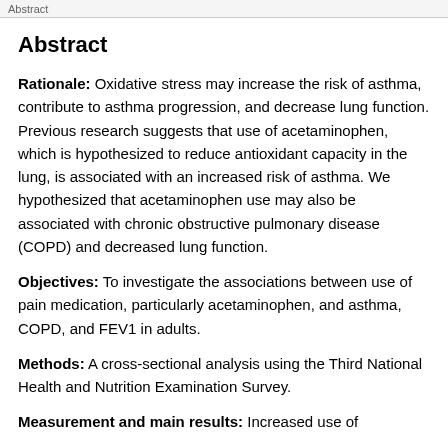Abstract
Abstract
Rationale: Oxidative stress may increase the risk of asthma, contribute to asthma progression, and decrease lung function. Previous research suggests that use of acetaminophen, which is hypothesized to reduce antioxidant capacity in the lung, is associated with an increased risk of asthma. We hypothesized that acetaminophen use may also be associated with chronic obstructive pulmonary disease (COPD) and decreased lung function.
Objectives: To investigate the associations between use of pain medication, particularly acetaminophen, and asthma, COPD, and FEV1 in adults.
Methods: A cross-sectional analysis using the Third National Health and Nutrition Examination Survey.
Measurement and main results: Increased use of